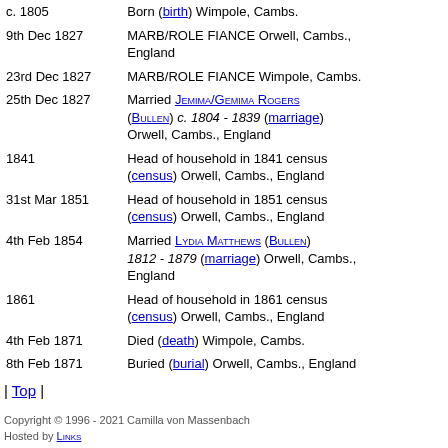| Date | Event |
| --- | --- |
| c. 1805 | Born (birth) Wimpole, Cambs. |
| 9th Dec 1827 | MARB/ROLE FIANCE Orwell, Cambs., England |
| 23rd Dec 1827 | MARB/ROLE FIANCE Wimpole, Cambs. |
| 25th Dec 1827 | Married Jemima/Gemima Rogers (Bullen) c. 1804 - 1839 (marriage) Orwell, Cambs., England |
| 1841 | Head of household in 1841 census (census) Orwell, Cambs., England |
| 31st Mar 1851 | Head of household in 1851 census (census) Orwell, Cambs., England |
| 4th Feb 1854 | Married Lydia Matthews (Bullen) 1812 - 1879 (marriage) Orwell, Cambs., England |
| 1861 | Head of household in 1861 census (census) Orwell, Cambs., England |
| 4th Feb 1871 | Died (death) Wimpole, Cambs. |
| 8th Feb 1871 | Buried (burial) Orwell, Cambs., England |
| Top |
Copyright © 1996 - 2021 Camilla von Massenbach
Hosted by Links